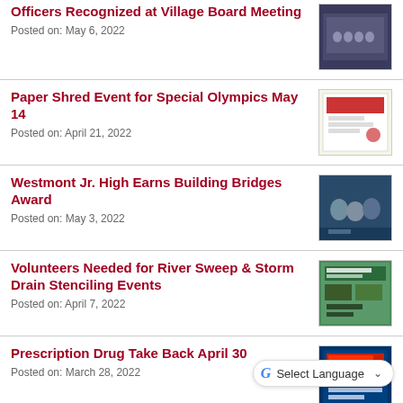Officers Recognized at Village Board Meeting
Posted on: May 6, 2022
[Figure (photo): Group photo of officers at Village Board Meeting]
Paper Shred Event for Special Olympics May 14
Posted on: April 21, 2022
[Figure (photo): Paper Shred Fundraiser for Special Olympics flyer]
Westmont Jr. High Earns Building Bridges Award
Posted on: May 3, 2022
[Figure (photo): Group photo for Building Bridges Award]
Volunteers Needed for River Sweep & Storm Drain Stenciling Events
Posted on: April 7, 2022
[Figure (photo): Volunteers Needed flyer for River Sweep and Storm Drain Stenciling Events]
Prescription Drug Take Back April 30
Posted on: March 28, 2022
[Figure (photo): Take Back Day flyer - April 30, 10a-2p]
Westmont Water & Garbage Utility
[Figure (photo): Village improvements - New Meter Workshops thumbnail]